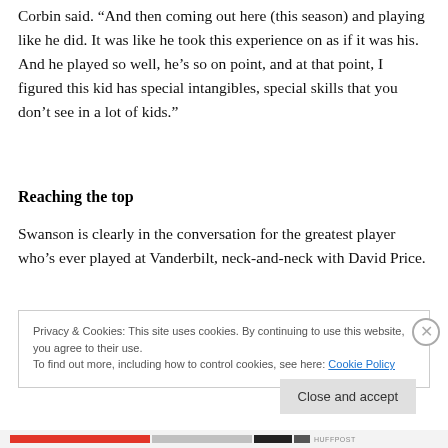Corbin said. “And then coming out here (this season) and playing like he did. It was like he took this experience on as if it was his. And he played so well, he’s so on point, and at that point, I figured this kid has special intangibles, special skills that you don’t see in a lot of kids.”
Reaching the top
Swanson is clearly in the conversation for the greatest player who’s ever played at Vanderbilt, neck-and-neck with David Price.
Privacy & Cookies: This site uses cookies. By continuing to use this website, you agree to their use.
To find out more, including how to control cookies, see here: Cookie Policy
Close and accept